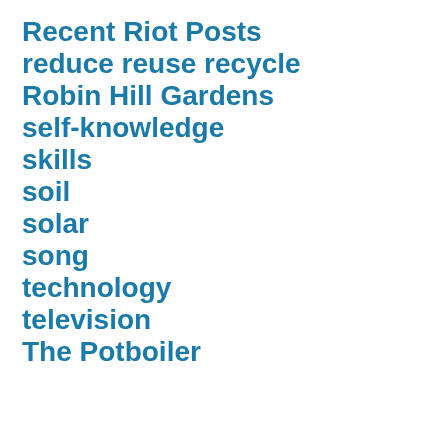Recent Riot Posts
reduce reuse recycle
Robin Hill Gardens
self-knowledge
skills
soil
solar
song
technology
television
The Potboiler